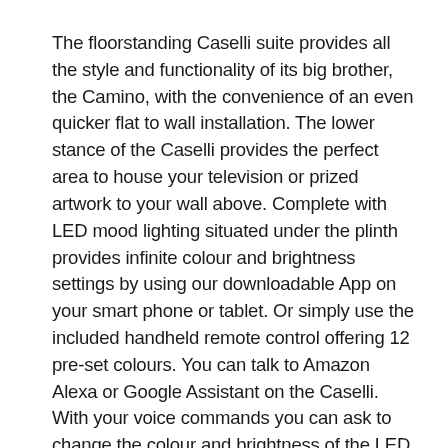The floorstanding Caselli suite provides all the style and functionality of its big brother, the Camino, with the convenience of an even quicker flat to wall installation. The lower stance of the Caselli provides the perfect area to house your television or prized artwork to your wall above. Complete with LED mood lighting situated under the plinth provides infinite colour and brightness settings by using our downloadable App on your smart phone or tablet. Or simply use the included handheld remote control offering 12 pre-set colours. You can talk to Amazon Alexa or Google Assistant on the Caselli. With your voice commands you can ask to change the colour and brightness of the LED mood lights to your preferred setting. Note: LED Mood lighting is